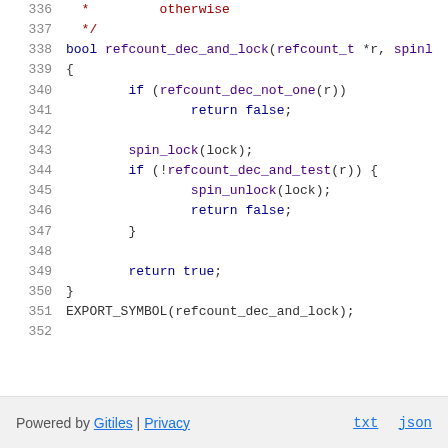[Figure (screenshot): Source code listing showing lines 336-352 of a C file with refcount_dec_and_lock function implementation, with syntax highlighting (keywords in dark blue, comments in dark red, function names in purple)]
Powered by Gitiles | Privacy   txt   json